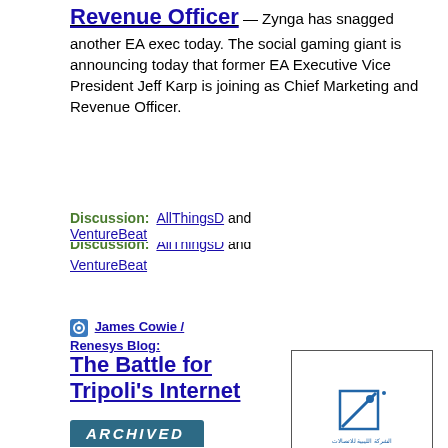Revenue Officer
— Zynga has snagged another EA exec today. The social gaming giant is announcing today that former EA Executive Vice President Jeff Karp is joining as Chief Marketing and Revenue Officer.
Discussion: AllThingsD and VentureBeat
James Cowie / Renesys Blog:
The Battle for Tripoli's Internet
[Figure (logo): LIBYA Telecom & Technology logo with www.ltt.ly URL]
— As dawn broke in Libya on the morning of Sunday 21 August, it appeared that the battle for control of Tripoli was underway. Throughout the night, a steady stream of tweets and retweets emerged from Libyan sources, painting a confusing, often contradictory picture of the evolving situation.
Discussion: msnbc.com, @ljmontgo and Computerworld UK's News
ARCHIVED